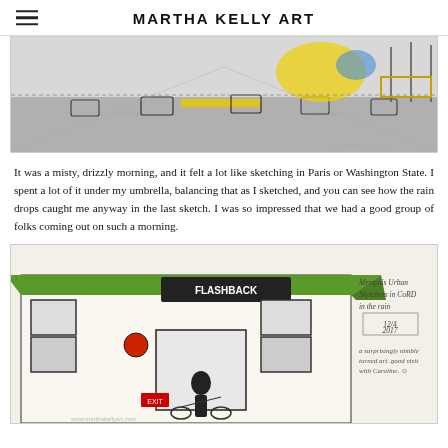MARTHA KELLY ART
[Figure (illustration): Urban street sketch showing cars on a road with yellow and blue color accents, pen and watercolor style]
It was a misty, drizzly morning, and it felt a lot like sketching in Paris or Washington State. I spent a lot of it under my umbrella, balancing that as I sketched, and you can see how the rain drops caught me anyway in the last sketch. I was so impressed that we had a good group of folks coming out on such a morning.
[Figure (illustration): Urban sketch of a storefront called FLASHBACK with a green awning, pen and ink with watercolor, with handwritten notes on the right side reading: Memphis Urban Sketchers in CoRD in the rain, 12/4/2017, a surprisingly nimble turned art. Good visit with Caroline.]